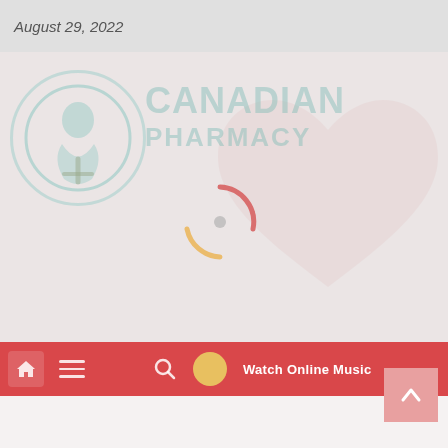August 29, 2022
[Figure (screenshot): Hero image area showing Canadian Pharmacy logo (teal circle with symbol), large faded CANADIAN PHARMACY branding text, a pink heart shape in background, and a loading spinner (red/orange/grey arc) in the center. Background is a muted pinkish-grey.]
[Figure (screenshot): Navigation bar in dark red/crimson: home icon, hamburger menu, search icon, gold avatar circle, and 'Watch Online Music' text label on right.]
FOOD & DIET  HEALTH ALLIANCE  HEALTH EXCERCISE  HEALT...
Black peer support: A